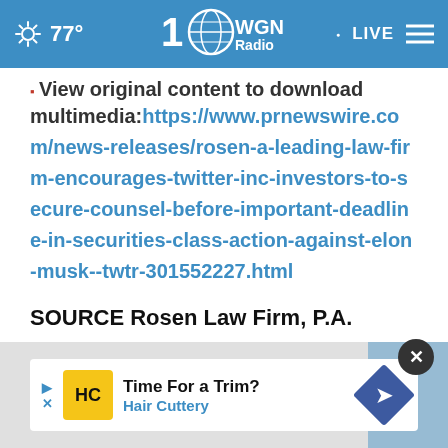77° WGN Radio 100 LIVE
View original content to download multimedia: https://www.prnewswire.com/news-releases/rosen-a-leading-law-firm-encourages-twitter-inc-investors-to-secure-counsel-before-important-deadline-in-securities-class-action-against-elon-musk--twtr-301552227.html
SOURCE Rosen Law Firm, P.A.
[Figure (screenshot): Advertisement banner: Time For a Trim? Hair Cuttery with logo and navigation arrow icon]